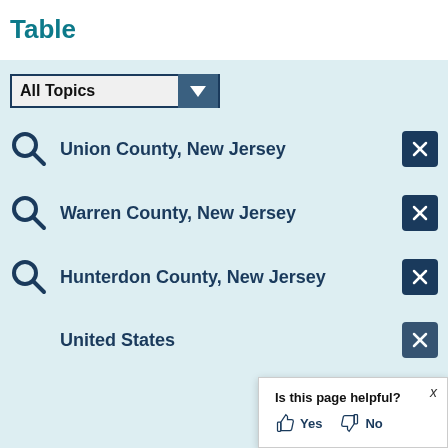Table
All Topics
Union County, New Jersey
Warren County, New Jersey
Hunterdon County, New Jersey
United States
Is this page helpful? Yes No